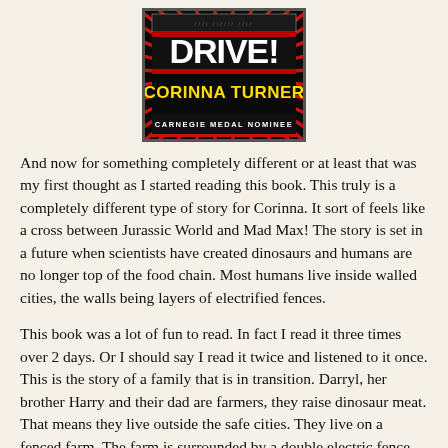[Figure (illustration): Book cover of 'DRIVE!' by Corinna Turner. Black background with red radiating lines, bold white text 'DRIVE!' at top, yellow text 'CORINNA TURNER' below, white text 'CARNEGIE MEDAL NOMINEE' at bottom.]
And now for something completely different or at least that was my first thought as I started reading this book. This truly is a completely different type of story for Corinna. It sort of feels like a cross between Jurassic World and Mad Max! The story is set in a future when scientists have created dinosaurs and humans are no longer top of the food chain. Most humans live inside walled cities, the walls being layers of electrified fences.
This book was a lot of fun to read. In fact I read it three times over 2 days. Or I should say I read it twice and listened to it once. This is the story of a family that is in transition. Darryl, her brother Harry and their dad are farmers, they raise dinosaur meat. That means they live outside the safe cities. They live on a fenced farm. The farm is surrounded by a double electric fence. But their life has changed drastically. The last time their dad came home from